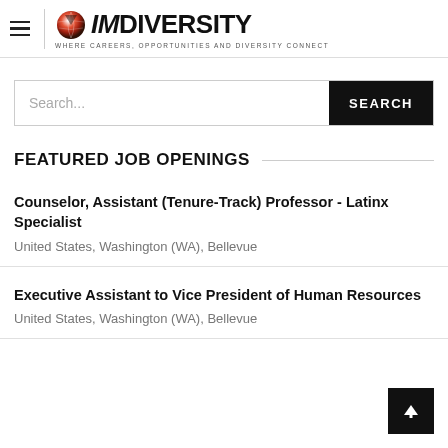[Figure (logo): IMdiversity logo with globe icon and tagline 'WHERE CAREERS, OPPORTUNITIES AND DIVERSITY CONNECT']
Search...
FEATURED JOB OPENINGS
Counselor, Assistant (Tenure-Track) Professor - Latinx Specialist
United States, Washington (WA), Bellevue
Executive Assistant to Vice President of Human Resources
United States, Washington (WA), Bellevue